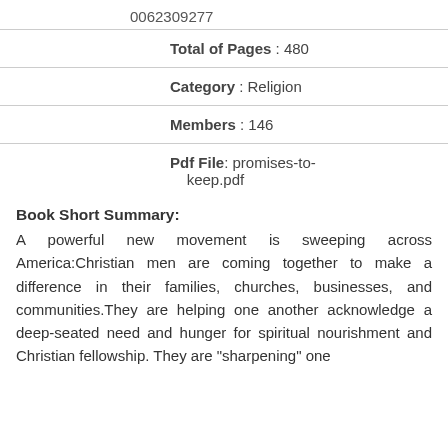0062309277
| Total of Pages | 480 |
| Category | Religion |
| Members | 146 |
| Pdf File | promises-to-keep.pdf |
Book Short Summary:
A powerful new movement is sweeping across America:Christian men are coming together to make a difference in their families, churches, businesses, and communities.They are helping one another acknowledge a deep-seated need and hunger for spiritual nourishment and Christian fellowship. They are "sharpening" one